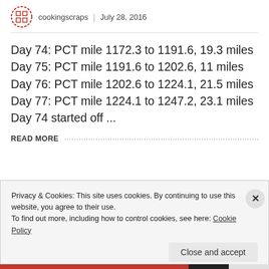cookingscraps | July 28, 2016
Day 74: PCT mile 1172.3 to 1191.6, 19.3 miles Day 75: PCT mile 1191.6 to 1202.6, 11 miles Day 76: PCT mile 1202.6 to 1224.1, 21.5 miles Day 77: PCT mile 1224.1 to 1247.2, 23.1 miles Day 74 started off ...
READ MORE
Privacy & Cookies: This site uses cookies. By continuing to use this website, you agree to their use.
To find out more, including how to control cookies, see here: Cookie Policy